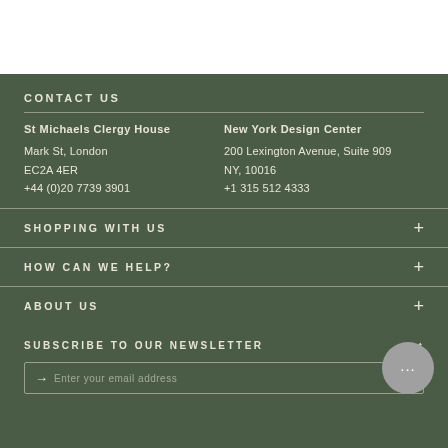CONTACT US
St Michaels Clergy House
Mark St, London
EC2A 4ER
+44 (0)20 7739 3901
New York Design Center
200 Lexington Avenue, Suite 909
NY, 10016
+1 315 512 4333
SHOPPING WITH US
HOW CAN WE HELP?
ABOUT US
SUBSCRIBE TO OUR NEWSLETTER
Enter your email address